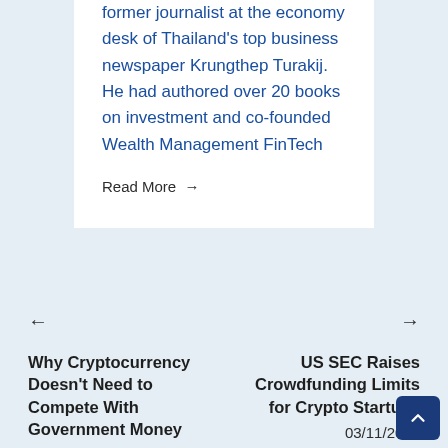former journalist at the economy desk of Thailand's top business newspaper Krungthep Turakij. He had authored over 20 books on investment and co-founded Wealth Management FinTech
Read More →
Why Cryptocurrency Doesn't Need to Compete With Government Money
02/11/2020
US SEC Raises Crowdfunding Limits for Crypto Startups
03/11/2020